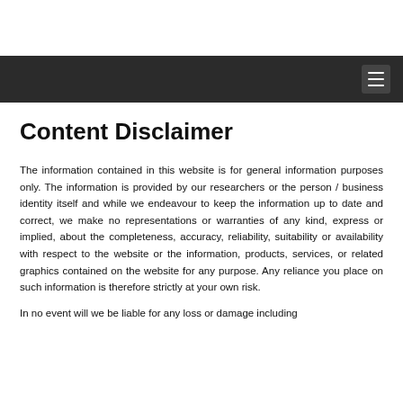[navigation bar with hamburger menu]
Content Disclaimer
The information contained in this website is for general information purposes only. The information is provided by our researchers or the person / business identity itself and while we endeavour to keep the information up to date and correct, we make no representations or warranties of any kind, express or implied, about the completeness, accuracy, reliability, suitability or availability with respect to the website or the information, products, services, or related graphics contained on the website for any purpose. Any reliance you place on such information is therefore strictly at your own risk.
In no event will we be liable for any loss or damage including